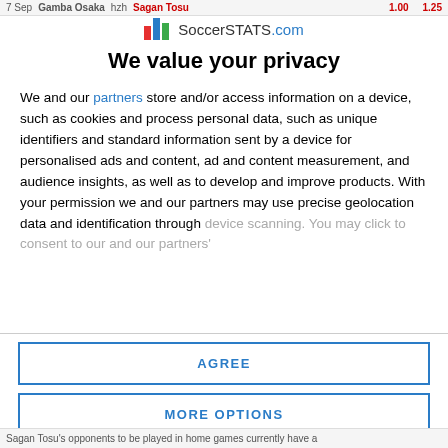7 Sep  Gamba Osaka  hzh  Sagan Tosu  1.00  1.25
[Figure (logo): SoccerSTATS.com logo with colored bar chart icon]
We value your privacy
We and our partners store and/or access information on a device, such as cookies and process personal data, such as unique identifiers and standard information sent by a device for personalised ads and content, ad and content measurement, and audience insights, as well as to develop and improve products. With your permission we and our partners may use precise geolocation data and identification through device scanning. You may click to consent to our and our partners'
AGREE
MORE OPTIONS
DISAGREE
Sagan Tosu's opponents to be played in home games currently have a